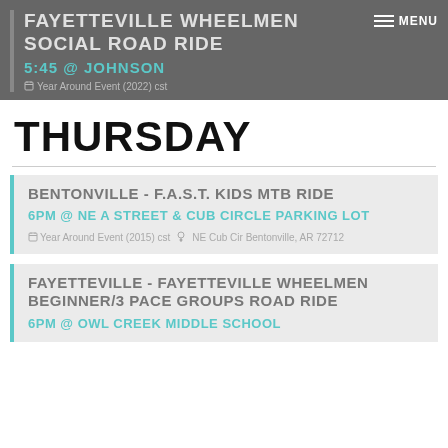FAYETTEVILLE WHEELMEN SOCIAL ROAD RIDE 5:45 @ JOHNSON Year Around Event (2022) cst
THURSDAY
BENTONVILLE - F.A.S.T. KIDS MTB RIDE 6PM @ NE A STREET & CUB CIRCLE PARKING LOT Year Around Event (2015) cst NE Cub Cir Bentonville, AR 72712
FAYETTEVILLE - FAYETTEVILLE WHEELMEN BEGINNER/3 PACE GROUPS ROAD RIDE 6PM @ OWL CREEK MIDDLE SCHOOL